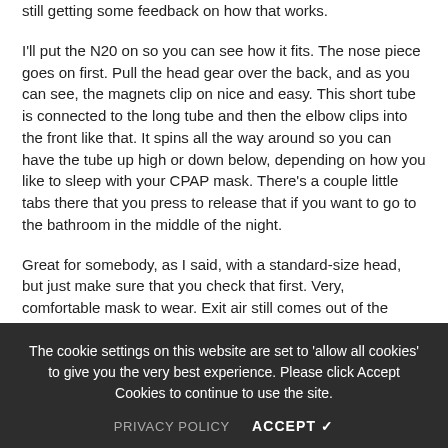still getting some feedback on how that works.
I'll put the N20 on so you can see how it fits. The nose piece goes on first. Pull the head gear over the back, and as you can see, the magnets clip on nice and easy. This short tube is connected to the long tube and then the elbow clips into the front like that. It spins all the way around so you can have the tube up high or down below, depending on how you like to sleep with your CPAP mask. There's a couple little tabs there that you press to release that if you want to go to the bathroom in the middle of the night.
Great for somebody, as I said, with a standard-size head, but just make sure that you check that first. Very, comfortable mask to wear. Exit air still comes out of the front. They haven't found a way to [partially obscured]
The cookie settings on this website are set to 'allow all cookies' to give you the very best experience. Please click Accept Cookies to continue to use the site.
PRIVACY POLICY    ACCEPT ✓